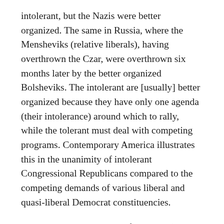intolerant, but the Nazis were better organized. The same in Russia, where the Mensheviks (relative liberals), having overthrown the Czar, were overthrown six months later by the better organized Bolsheviks. The intolerant are [usually] better organized because they have only one agenda (their intolerance) around which to rally, while the tolerant must deal with competing programs. Contemporary America illustrates this in the unanimity of intolerant Congressional Republicans compared to the competing demands of various liberal and quasi-liberal Democrat constituencies.
The second issue is how to filter junk (lies, propaganda) from quality material without having armies of censors on salary. Ninety years ago, Paul